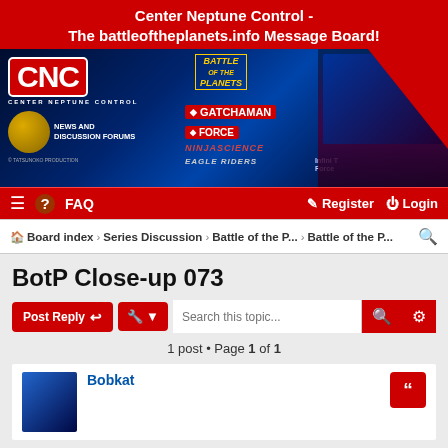Center Neptune Control - The battleoftheplanets.info Message Board!
[Figure (illustration): Center Neptune Control banner image with CNC logo, Battle of the Planets, Gatchaman, G-Force, Ninjascience, Eagle Riders, Infini-T Force logos and anime characters on space background]
FAQ  Register  Login
Board index › Series Discussion › Battle of the P... › Battle of the P...
BotP Close-up 073
1 post • Page 1 of 1
Bobkat
BotP Close-up 073
Post: # 620  Thu May 19, 2022 5:54 pm